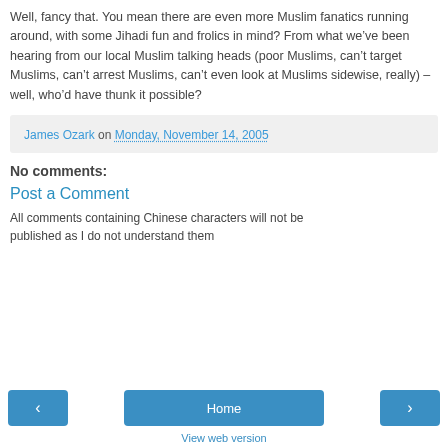Well, fancy that. You mean there are even more Muslim fanatics running around, with some Jihadi fun and frolics in mind? From what we’ve been hearing from our local Muslim talking heads (poor Muslims, can’t target Muslims, can’t arrest Muslims, can’t even look at Muslims sidewise, really) – well, who’d have thunk it possible?
James Ozark on Monday, November 14, 2005
No comments:
Post a Comment
All comments containing Chinese characters will not be published as I do not understand them
‹  Home  ›  View web version